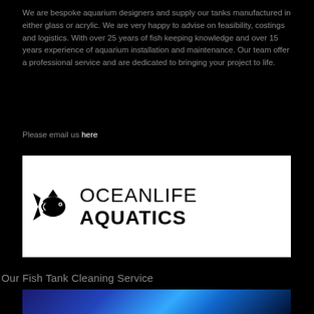We are bespoke aquarium designers and supply our tanks manufactured in either glass or acrylic. We are very happy to advise on feasibility, costings and logistics. With over 25 years of fish keeping knowledge and over 15 years experience of aquarium installation and maintenance. Our team offer a professional service and are dedicated to bringing your project to life.
Please email us here
[Figure (logo): Ocean Life Aquatics logo — fish silhouette icon on left, text 'OCEANLIFE AQUATICS' on right, black on white background]
Our Fish Tank Cleaning Service
[Figure (photo): Photo of a fish tank with blue lighting, partially visible at the bottom of the page]